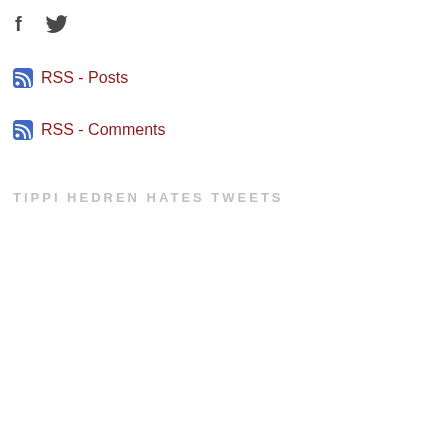[Figure (logo): Facebook and Twitter social media icons side by side]
RSS - Posts
RSS - Comments
TIPPI HEDREN HATES TWEETS